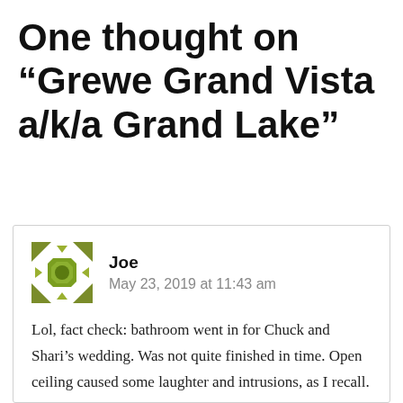One thought on “Grewe Grand Vista a/k/a Grand Lake”
[Figure (illustration): Gravatar avatar icon for commenter Joe — olive green geometric flower/snowflake pattern on white background with triangular border elements]
Joe
May 23, 2019 at 11:43 am
Lol, fact check: bathroom went in for Chuck and Shari’s wedding. Was not quite finished in time. Open ceiling caused some laughter and intrusions, as I recall.
I feel like we all gathered quite a bit there, even after grandpa. But then there were two places to go